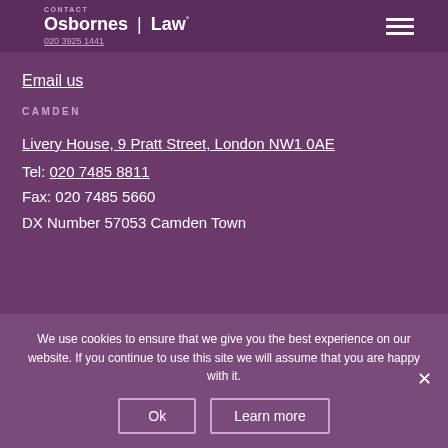CONTACT | Osbornes Law | 020 3925 1441
Email us
CAMDEN
Livery House, 9 Pratt Street, London NW1 0AE
Tel: 020 7485 8811
Fax: 020 7485 5660
DX Number 57053 Camden Town
We use cookies to ensure that we give you the best experience on our website. If you continue to use this site we will assume that you are happy with it.